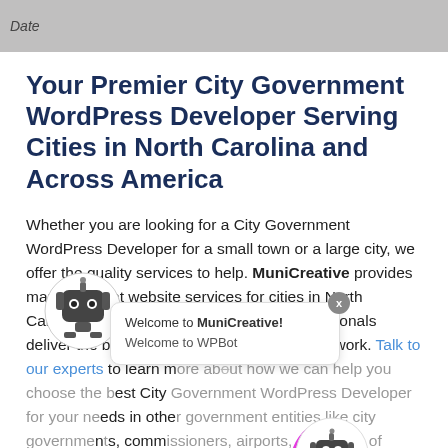Date
Your Premier City Government WordPress Developer Serving Cities in North Carolina and Across America
Whether you are looking for a City Government WordPress Developer for a small town or a large city, we offer the quality services to help. MuniCreative provides many different website services for cities in North Carolina and around the country. Our professionals deliver the best custom service and expert work. Talk to our experts to learn more about how we can help you choose the best City Government WordPress Developer for your needs in other government entities like city governments, commissioners, airports, chambers of commerce, city clerks, law enforcement, clerks of court and more in cities in North Carolina and abroad; go digital.
[Figure (illustration): WPBot robot chatbot popup overlay showing a robot icon on the left and a speech bubble with 'Welcome to MuniCreative!' and 'Welcome to WPBot' text, plus a close X button and a second robot icon in the bottom right with a pink/magenta arc circle]